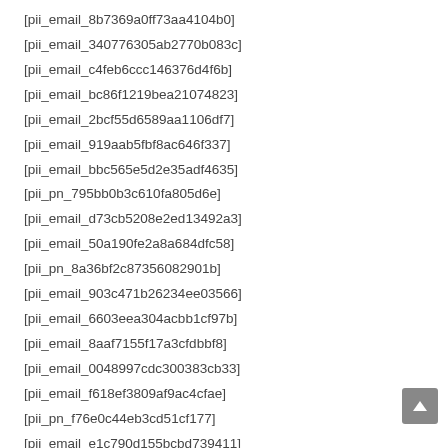[pii_email_8b7369a0ff73aa4104b0]
[pii_email_340776305ab2770b083c]
[pii_email_c4feb6ccc146376d4f6b]
[pii_email_bc86f1219bea21074823]
[pii_email_2bcf55d6589aa1106df7]
[pii_email_919aab5fbf8ac646f337]
[pii_email_bbc565e5d2e35adf4635]
[pii_pn_795bb0b3c610fa805d6e]
[pii_email_d73cb5208e2ed13492a3]
[pii_email_50a190fe2a8a684dfc58]
[pii_pn_8a36bf2c87356082901b]
[pii_email_903c471b26234ee03566]
[pii_email_6603eea304acbb1cf97b]
[pii_email_8aaf7155f17a3cfdbbf8]
[pii_email_0048997cdc300383cb33]
[pii_email_f618ef3809af9ac4cfae]
[pii_pn_f76e0c44eb3cd51cf177]
[pii_email_e1c790d155bcbd739411]